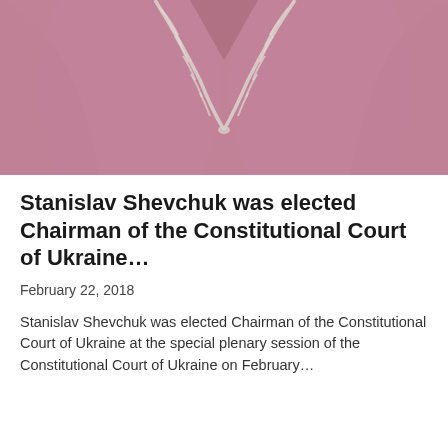[Figure (photo): Close-up photo of a person wearing a pink/mauve robe with a decorative chain necklace, visible from approximately chest level upward. The image is cropped at the top of the page.]
Stanislav Shevchuk was elected Chairman of the Constitutional Court of Ukraine…
February 22, 2018
Stanislav Shevchuk was elected Chairman of the Constitutional Court of Ukraine at the special plenary session of the Constitutional Court of Ukraine on February…